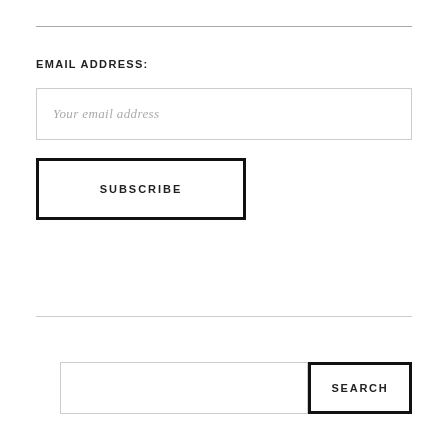EMAIL ADDRESS:
Your email address
SUBSCRIBE
SEARCH